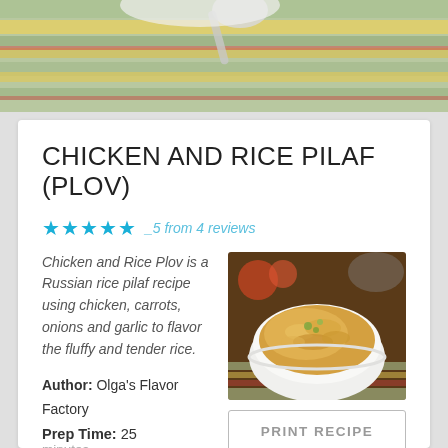[Figure (photo): Top banner photo of striped green, yellow and red cloth with a spoon and white bowl visible]
CHICKEN AND RICE PILAF (PLOV)
★★★★★  _5 from 4 reviews
Chicken and Rice Plov is a Russian rice pilaf recipe using chicken, carrots, onions and garlic to flavor the fluffy and tender rice.
[Figure (photo): Bowl of chicken and rice pilaf (plov) garnished with herbs, with tomatoes visible in background]
Author: Olga's Flavor Factory
Prep Time: 25 minutes
PRINT RECIPE
Cook Time:    Total Time: 75